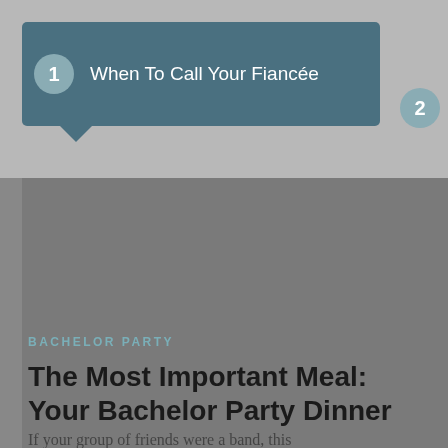1 When To Call Your Fiancée | 2 The Bachelor Party Dinner The Most Important Meal
[Figure (photo): Large gray placeholder image area for article photo]
BACHELOR PARTY
The Most Important Meal: Your Bachelor Party Dinner
If your group of friends were a band, this